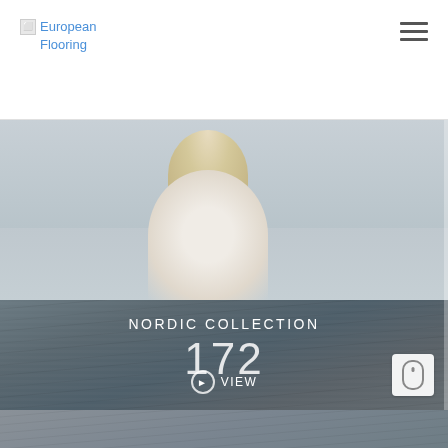European Flooring
[Figure (photo): Woman with blonde hair wearing a white fluffy coat, standing outdoors with a cloudy sky and water in the background]
[Figure (photo): Dark grey wood grain texture background with white text overlay reading 'NORDIC COLLECTION', number '172', and a 'VIEW' button with arrow circle]
[Figure (photo): Dark grey wood grain texture strip at the bottom of the page]